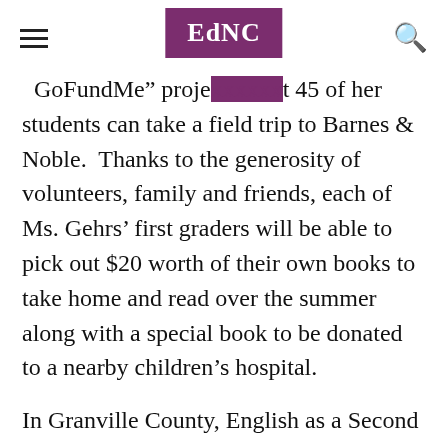EdNC
GoFundMe project...t 45 of her students can take a field trip to Barnes & Noble. Thanks to the generosity of volunteers, family and friends, each of Ms. Gehrs’ first graders will be able to pick out $20 worth of their own books to take home and read over the summer along with a special book to be donated to a nearby children’s hospital.
In Granville County, English as a Second Language Director Laura Santos runs a Book Mobile Library each summer for the English Language Learners in her community. Mrs. Santos has collected and purchased many of